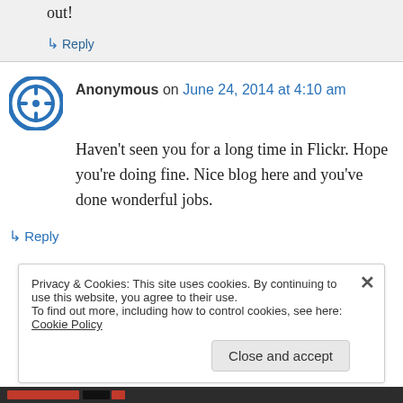out!
↳ Reply
Anonymous on June 24, 2014 at 4:10 am
Haven't seen you for a long time in Flickr. Hope you're doing fine. Nice blog here and you've done wonderful jobs.
↳ Reply
Privacy & Cookies: This site uses cookies. By continuing to use this website, you agree to their use. To find out more, including how to control cookies, see here: Cookie Policy
Close and accept